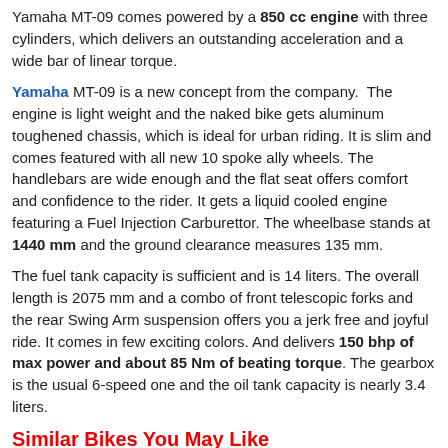Yamaha MT-09 comes powered by a 850 cc engine with three cylinders, which delivers an outstanding acceleration and a wide bar of linear torque.
Yamaha MT-09 is a new concept from the company. The engine is light weight and the naked bike gets aluminum toughened chassis, which is ideal for urban riding. It is slim and comes featured with all new 10 spoke ally wheels. The handlebars are wide enough and the flat seat offers comfort and confidence to the rider. It gets a liquid cooled engine featuring a Fuel Injection Carburettor. The wheelbase stands at 1440 mm and the ground clearance measures 135 mm.
The fuel tank capacity is sufficient and is 14 liters. The overall length is 2075 mm and a combo of front telescopic forks and the rear Swing Arm suspension offers you a jerk free and joyful ride. It comes in few exciting colors. And delivers 150 bhp of max power and about 85 Nm of beating torque. The gearbox is the usual 6-speed one and the oil tank capacity is nearly 3.4 liters.
Similar Bikes You May Like
Bikes With Features Similar to Yamaha MT-25    Compare
[Figure (photo): Photo of a red/orange motorcycle (similar bike 1)]
[Figure (photo): Photo of a dark colored motorcycle (similar bike 2)]